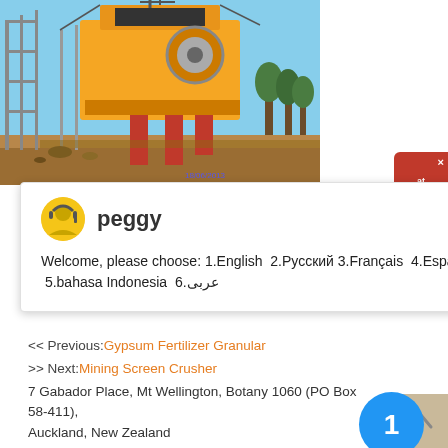[Figure (photo): Industrial mining jaw crusher machine on a construction site, yellow/orange heavy machinery mounted on scaffolding with blue sky background, timestamp 18/06/2013]
peggy
Welcome, please choose: 1.English  2.Русский 3.Français  4.Español  5.bahasa Indonesia  6.عربى
7 Gabador Place, Mt Wellington, Botany 1060 (PO Box 58-411), Auckland, New Zealand
get price
<< Previous:Gypsum Fertilizer Granular
>> Next:Mining Screen Crusher